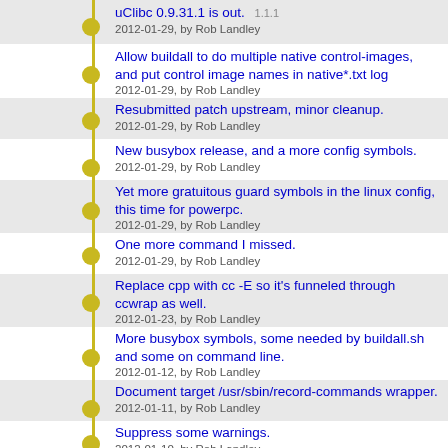uClibc 0.9.31.1 is out. [1.1.1]
2012-01-29, by Rob Landley
Allow buildall to do multiple native control-images, and put control image names in native*.txt log
2012-01-29, by Rob Landley
Resubmitted patch upstream, minor cleanup.
2012-01-29, by Rob Landley
New busybox release, and a more config symbols.
2012-01-29, by Rob Landley
Yet more gratuitous guard symbols in the linux config, this time for powerpc.
2012-01-29, by Rob Landley
One more command I missed.
2012-01-29, by Rob Landley
Replace cpp with cc -E so it's funneled through ccwrap as well.
2012-01-23, by Rob Landley
More busybox symbols, some needed by buildall.sh and some on command line.
2012-01-12, by Rob Landley
Document target /usr/sbin/record-commands wrapper.
2012-01-11, by Rob Landley
Suppress some warnings.
2012-01-10, by Rob Landley
Unbreak network in 3.2.
2012-01-09, by Rob Landley
Upgrade to 3.2 kernel.